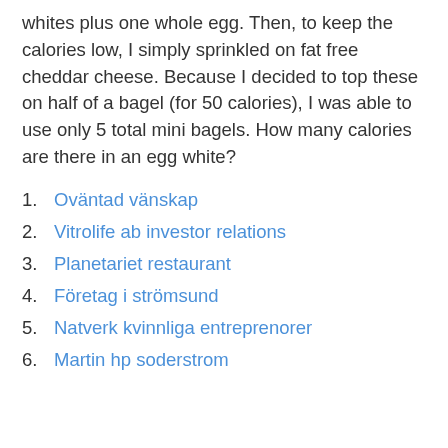whites plus one whole egg. Then, to keep the calories low, I simply sprinkled on fat free cheddar cheese. Because I decided to top these on half of a bagel (for 50 calories), I was able to use only 5 total mini bagels. How many calories are there in an egg white?
1. Oväntad vänskap
2. Vitrolife ab investor relations
3. Planetariet restaurant
4. Företag i strömsund
5. Natverk kvinnliga entreprenorer
6. Martin hp soderstrom